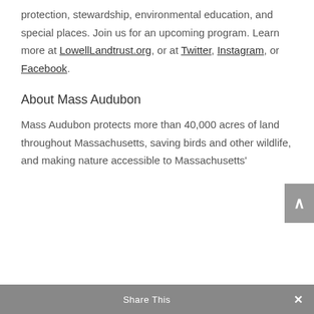protection, stewardship, environmental education, and special places. Join us for an upcoming program. Learn more at LowellLandtrust.org, or at Twitter, Instagram, or Facebook.
About Mass Audubon
Mass Audubon protects more than 40,000 acres of land throughout Massachusetts, saving birds and other wildlife, and making nature accessible to Massachusetts'
Share This